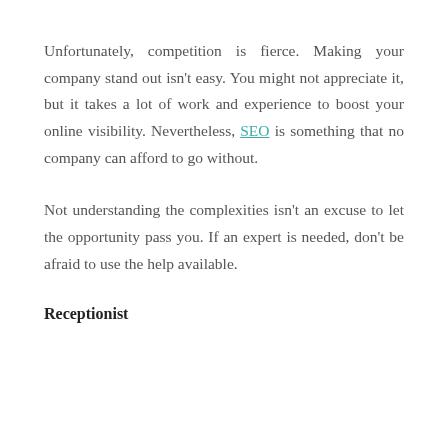Unfortunately, competition is fierce. Making your company stand out isn't easy. You might not appreciate it, but it takes a lot of work and experience to boost your online visibility. Nevertheless, SEO is something that no company can afford to go without.
Not understanding the complexities isn't an excuse to let the opportunity pass you. If an expert is needed, don't be afraid to use the help available.
Receptionist